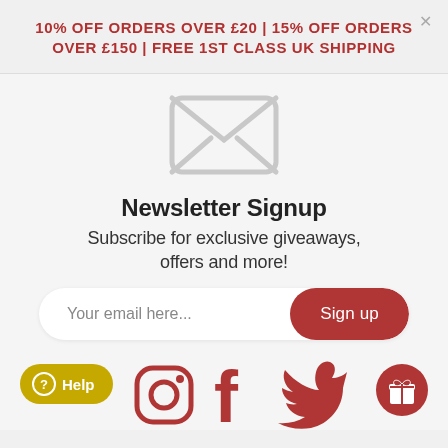10% OFF ORDERS OVER £20 | 15% OFF ORDERS OVER £150 | FREE 1ST CLASS UK SHIPPING
[Figure (illustration): Envelope/mail icon in light grey outline style]
Newsletter Signup
Subscribe for exclusive giveaways, offers and more!
Your email here...
Sign up
Help
[Figure (illustration): Social media icons: Instagram, Facebook, Twitter, and a gift icon button]